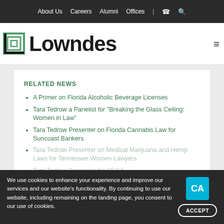About Us  Careers  Alumni  Offices  |  📞  🔍
[Figure (logo): Lowndes law firm logo with green square icon and bold black Lowndes wordmark]
RELATED NEWS
A Primer on Florida Alcoholic Beverage Licenses
Tara Tedrow a Panelist for "Breaking the Glass Ceiling: Women in Law"
Tara Tedrow Presenter on Florida Cannabis Law for Suncoast Bankers
Tara Tedrow Presenter on Medical Marijuana and Hemp Laws for Tennessee Women Lawyers
Tara Tedrow Presenter for CECA
We use cookies to enhance your experience and improve our services and our website's functionality. By continuing to use our website, including remaining on the landing page, you consent to our use of cookies.